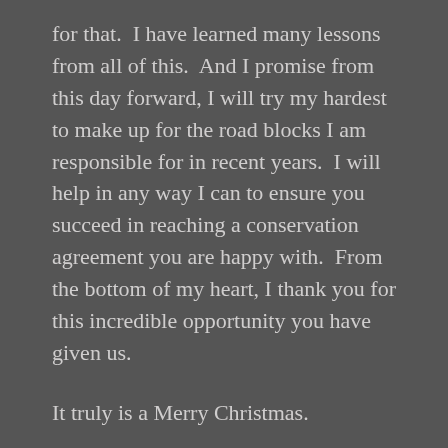for that.  I have learned many lessons from all of this.  And I promise from this day forward, I will try my hardest to make up for the road blocks I am responsible for in recent years.  I will help in any way I can to ensure you succeed in reaching a conservation agreement you are happy with.  From the bottom of my heart, I thank you for this incredible opportunity you have given us.
It truly is a Merry Christmas.
Sincerely,
Mindy Rhodes